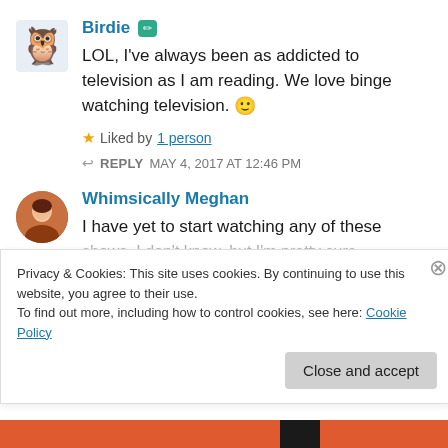Birdie
LOL, I've always been as addicted to television as I am reading. We love binge watching television. 🙂
Liked by 1 person
REPLY MAY 4, 2017 AT 12:46 PM
Whimsically Meghan
I have yet to start watching any of these shows. I don't know, but I'm pretty sure
Privacy & Cookies: This site uses cookies. By continuing to use this website, you agree to their use.
To find out more, including how to control cookies, see here: Cookie Policy
Close and accept